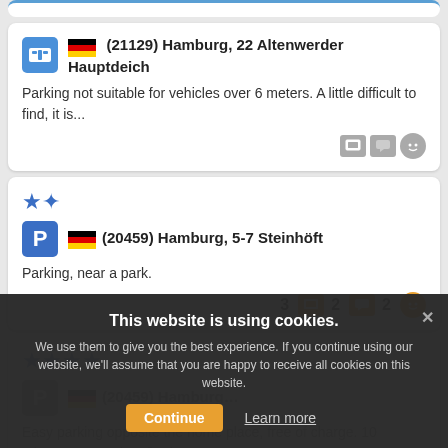(21129) Hamburg, 22 Altenwerder Hauptdeich — Parking not suitable for vehicles over 6 meters. A little difficult to find, it is...
(20459) Hamburg, 5-7 Steinhöft — Parking, near a park. 3 photos 2 comments 2 ratings
(20459) Hamburg — Easy parking opposite the home place, free of charge. 10 minutes to Zartduns/broken.
This website is using cookies. We use them to give you the best experience. If you continue using our website, we'll assume that you are happy to receive all cookies on this website.
Continue   Learn more